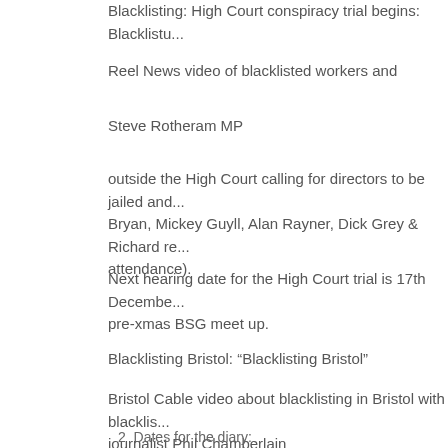Blacklisting: High Court conspiracy trial begins:  Blacklisti...
Reel News video of blacklisted workers and
Steve Rotheram MP
outside the High Court calling for directors to be jailed and... Bryan, Mickey Guyll, Alan Rayner, Dick Grey & Richard re... attendance).
Next hearing date for the High Court trial is 17th Decembe... pre-xmas BSG meet up.
Blacklisting Bristol: “Blacklisting Bristol”
Bristol Cable video about blacklisting in Bristol with blacklis... journalist Phil Chamberlain
2  Dates for the diary: